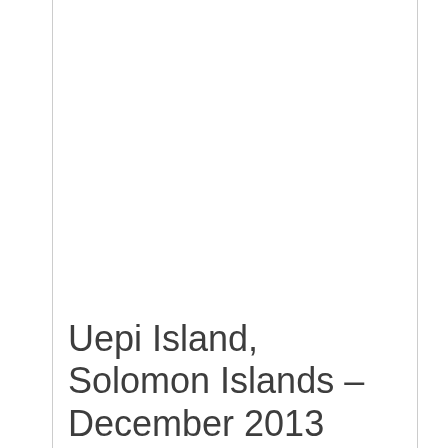Uepi Island, Solomon Islands – December 2013